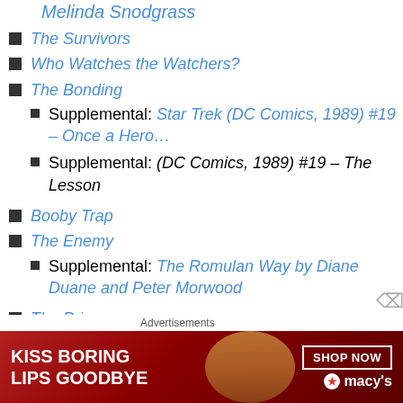Melinda Snodgrass
The Survivors
Who Watches the Watchers?
The Bonding
Supplemental: Star Trek (DC Comics, 1989) #19 – Once a Hero…
Supplemental: (DC Comics, 1989) #19 – The Lesson
Booby Trap
The Enemy
Supplemental: The Romulan Way by Diane Duane and Peter Morwood
The Price
[Figure (infographic): Macy's advertisement banner: KISS BORING LIPS GOODBYE with SHOP NOW button and Macy's logo]